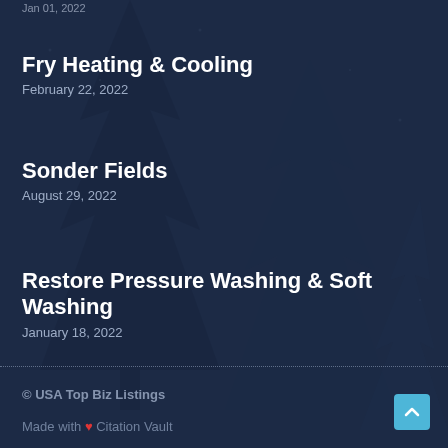Jan 01, 2022
Fry Heating & Cooling
February 22, 2022
Sonder Fields
August 29, 2022
Restore Pressure Washing & Soft Washing
January 18, 2022
© USA Top Biz Listings
Made with ❤ Citation Vault